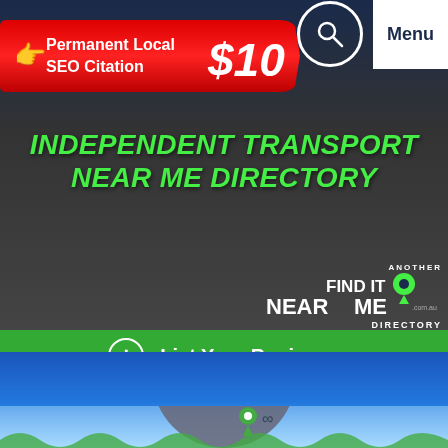Menu
[Figure (infographic): Red banner with Permanent Local SEO Citation $10 offer]
INDEPENDENT TRANSPORT NEAR ME DIRECTORY
[Figure (logo): Another Find It Near Me .com.au Directory logo with green map pin]
List Your Business
Get 3 Quotes FAST!
Transport Providers Listed Nearest To You
[Figure (map): Map showing location marker with You label and mountain/wave terrain]